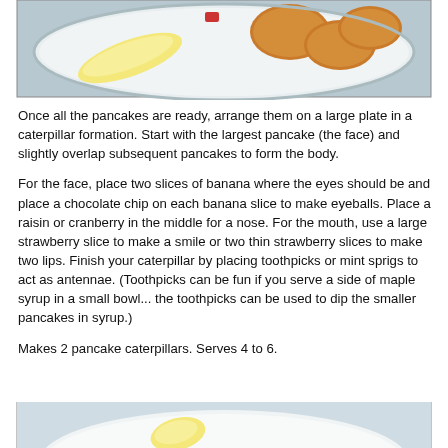[Figure (photo): A white plate with golden-brown pancakes arranged in a caterpillar formation, with a banana slice visible and a small red fruit piece.]
Once all the pancakes are ready, arrange them on a large plate in a caterpillar formation. Start with the largest pancake (the face) and slightly overlap subsequent pancakes to form the body.
For the face, place two slices of banana where the eyes should be and place a chocolate chip on each banana slice to make eyeballs. Place a raisin or cranberry in the middle for a nose. For the mouth, use a large strawberry slice to make a smile or two thin strawberry slices to make two lips. Finish your caterpillar by placing toothpicks or mint sprigs to act as antennae. (Toothpicks can be fun if you serve a side of maple syrup in a small bowl... the toothpicks can be used to dip the smaller pancakes in syrup.)
Makes 2 pancake caterpillars. Serves 4 to 6.
[Figure (photo): Bottom portion of a white plate on a light blue surface, with a banana slice visible.]